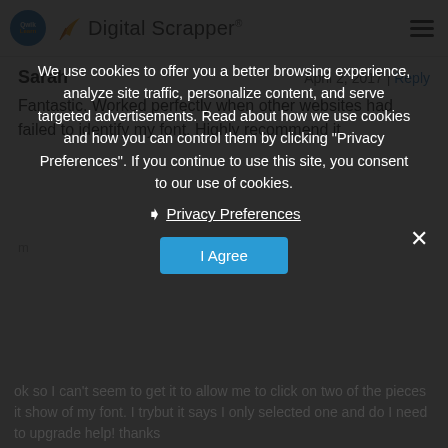Digital Scrapper
Sarah | April 2, 2017 | Reply
Fantastic. Worked perfectly when other websites had failed to identify my font. Highly recommend it.
We use cookies to offer you a better browsing experience, analyze site traffic, personalize content, and serve targeted advertisements. Read about how we use cookies and how you can control them by clicking "Privacy Preferences". If you continue to use this site, you consent to our use of cookies.
Privacy Preferences
I Agree